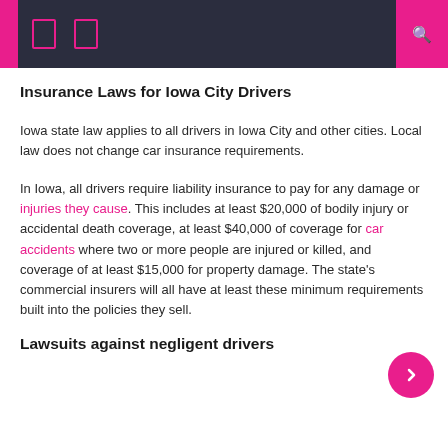[navigation header with icons and search]
Insurance Laws for Iowa City Drivers
Iowa state law applies to all drivers in Iowa City and other cities. Local law does not change car insurance requirements.
In Iowa, all drivers require liability insurance to pay for any damage or injuries they cause. This includes at least $20,000 of bodily injury or accidental death coverage, at least $40,000 of coverage for car accidents where two or more people are injured or killed, and coverage of at least $15,000 for property damage. The state's commercial insurers will all have at least these minimum requirements built into the policies they sell.
Lawsuits against negligent drivers